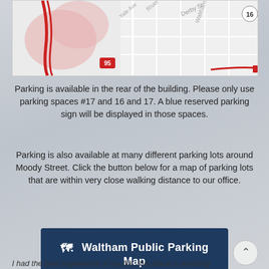[Figure (map): Street map showing Derby St, River St, Waltham St, Yale Ave, route 95 and route 16 markers, with red highlighted roads]
Parking is available in the rear of the building. Please only use parking spaces #17 and 16 and 17. A blue reserved parking sign will be displayed in those spaces.
Parking is also available at many different parking lots around Moody Street. Click the button below for a map of parking lots that are within very close walking distance to our office.
🗺 Waltham Public Parking Map
I had the best experience of my life, this place is amazing